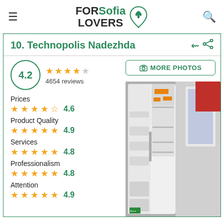[Figure (logo): FORSofia LOVERS logo with leaf pin icon]
10. Technopolis Nadezhda
4.2 — 4654 reviews — Stars: 4.2/5
Prices ★★★★½ 4.6
Product Quality ★★★★★ 4.9
Services ★★★★★ 4.8
Professionalism ★★★★★ 4.8
Attention ★★★★★ 4.9
[Figure (photo): Open refrigerator with shelves visible, displayed in a store]